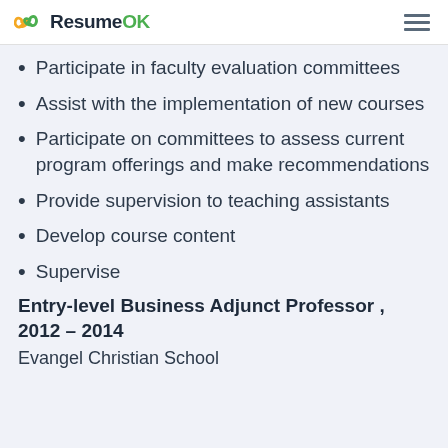ResumeOK
Participate in faculty evaluation committees
Assist with the implementation of new courses
Participate on committees to assess current program offerings and make recommendations
Provide supervision to teaching assistants
Develop course content
Supervise
Entry-level Business Adjunct Professor , 2012 – 2014
Evangel Christian School